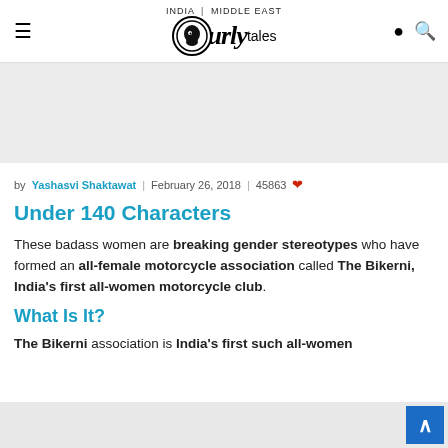INDIA | MIDDLE EAST — Curly Tales logo
[Figure (other): Advertisement placeholder gray area]
by Yashasvi Shaktawat | February 26, 2018 | 45863 ❤
Under 140 Characters
These badass women are breaking gender stereotypes who have formed an all-female motorcycle association called The Bikerni, India's first all-women motorcycle club.
What Is It?
The Bikerni association is India's first such all-women